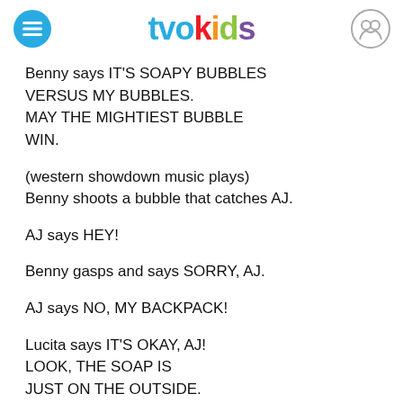tvokids
Benny says IT'S SOAPY BUBBLES VERSUS MY BUBBLES. MAY THE MIGHTIEST BUBBLE WIN.
(western showdown music plays) Benny shoots a bubble that catches AJ.
AJ says HEY!
Benny gasps and says SORRY, AJ.
AJ says NO, MY BACKPACK!
Lucita says IT'S OKAY, AJ! LOOK, THE SOAP IS JUST ON THE OUTSIDE. YOUR GADGETS ARE SAFE INSIDE.